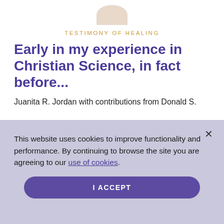[Figure (illustration): Partial avatar/profile circle illustration in beige/tan color at top center]
TESTIMONY OF HEALING
Early in my experience in Christian Science, in fact before...
Juanita R. Jordan with contributions from Donald S.
This website uses cookies to improve functionality and performance. By continuing to browse the site you are agreeing to our use of cookies.
I ACCEPT